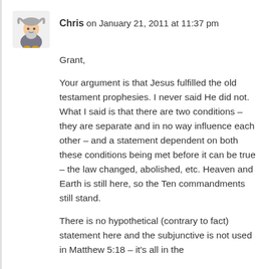Chris on January 21, 2011 at 11:37 pm
Grant,
Your argument is that Jesus fulfilled the old testament prophesies. I never said He did not. What I said is that there are two conditions – they are separate and in no way influence each other – and a statement dependent on both these conditions being met before it can be true – the law changed, abolished, etc. Heaven and Earth is still here, so the Ten commandments still stand.
There is no hypothetical (contrary to fact) statement here and the subjunctive is not used in Matthew 5:18 – it's all in the